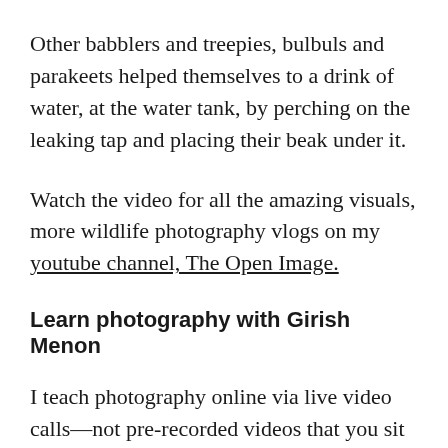Other babblers and treepies, bulbuls and parakeets helped themselves to a drink of water, at the water tank, by perching on the leaking tap and placing their beak under it.
Watch the video for all the amazing visuals, more wildlife photography vlogs on my youtube channel, The Open Image.
Learn photography with Girish Menon
I teach photography online via live video calls—not pre-recorded videos that you sit and watch by yourself. You can be based anywhere in the